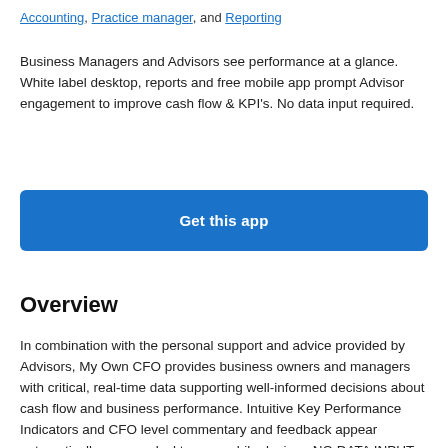Accounting, Practice manager, and Reporting
Business Managers and Advisors see performance at a glance. White label desktop, reports and free mobile app prompt Advisor engagement to improve cash flow & KPI's. No data input required.
Get this app
Overview
In combination with the personal support and advice provided by Advisors, My Own CFO provides business owners and managers with critical, real-time data supporting well-informed decisions about cash flow and business performance. Intuitive Key Performance Indicators and CFO level commentary and feedback appear automatically on your desktop or mobile device - NO DATA INPUT